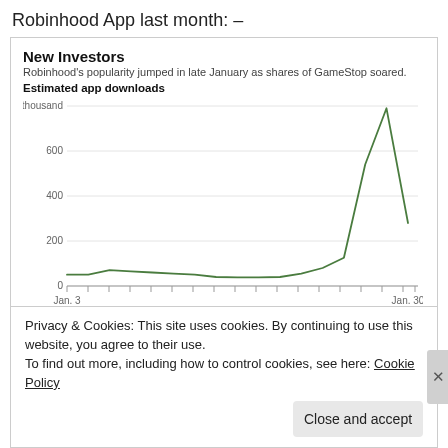Robinhood App last month: –
[Figure (line-chart): New Investors]
Privacy & Cookies: This site uses cookies. By continuing to use this website, you agree to their use.
To find out more, including how to control cookies, see here: Cookie Policy
Close and accept